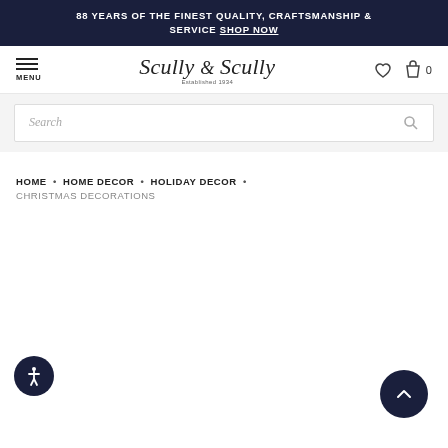88 YEARS OF THE FINEST QUALITY, CRAFTSMANSHIP & SERVICE SHOP NOW
[Figure (logo): Scully & Scully script logo with 'Established 1934' subtitle, hamburger menu icon with MENU label, heart icon, and shopping bag icon with 0 count]
Search
HOME • HOME DECOR • HOLIDAY DECOR • CHRISTMAS DECORATIONS
[Figure (illustration): Circular accessibility (wheelchair person) icon in dark navy blue, bottom left corner]
[Figure (illustration): Circular scroll-to-top button with upward chevron arrow in dark navy blue, bottom right corner]